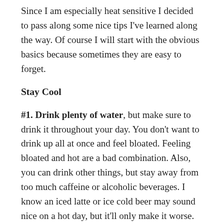Since I am especially heat sensitive I decided to pass along some nice tips I've learned along the way. Of course I will start with the obvious basics because sometimes they are easy to forget.
Stay Cool
#1. Drink plenty of water, but make sure to drink it throughout your day. You don't want to drink up all at once and feel bloated. Feeling bloated and hot are a bad combination. Also, you can drink other things, but stay away from too much caffeine or alcoholic beverages. I know an iced latte or ice cold beer may sound nice on a hot day, but it'll only make it worse.